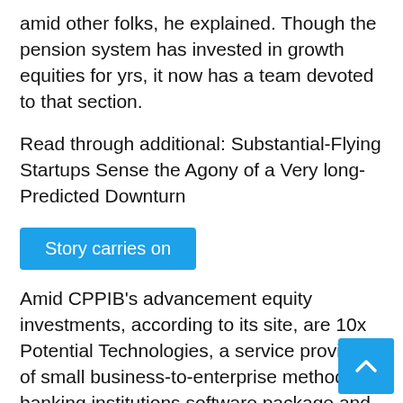amid other folks, he explained. Though the pension system has invested in growth equities for yrs, it now has a team devoted to that section.
Read through additional: Substantial-Flying Startups Sense the Agony of a Very long-Predicted Downturn
Story carries on
Amid CPPIB’s advancement equity investments, according to its site, are 10x Potential Technologies, a service provider of small business-to-enterprise methods for banking institutions software package and database management firm Aerospike and DriveWealth, a brokerage infrastructure platform.